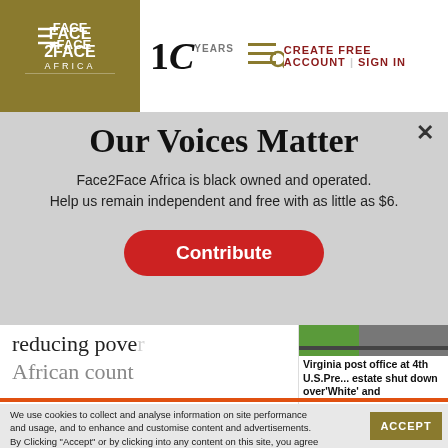Face2Face Africa | 10 YEARS | CREATE FREE ACCOUNT | SIGN IN
Our Voices Matter
Face2Face Africa is black owned and operated. Help us remain independent and free with as little as $6.
Contribute
reducing pove...
African count...
Virginia post office at 4th U.S.Pre... estate shut down over 'White' and
We use cookies to collect and analyse information on site performance and usage, and to enhance and customise content and advertisements. By Clicking "Accept" or by clicking into any content on this site, you agree to allow cookies to be placed. To find out more, read our privacy policy.